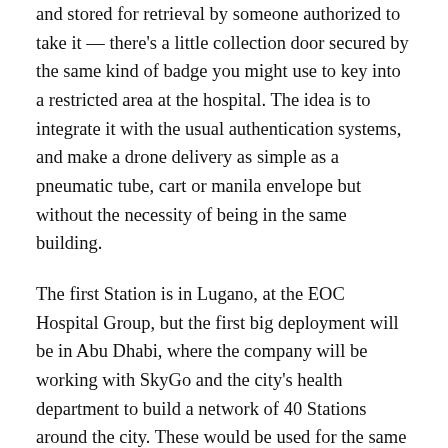and stored for retrieval by someone authorized to take it — there's a little collection door secured by the same kind of badge you might use to key into a restricted area at the hospital. The idea is to integrate it with the usual authentication systems, and make a drone delivery as simple as a pneumatic tube, cart or manila envelope but without the necessity of being in the same building.
The first Station is in Lugano, at the EOC Hospital Group, but the first big deployment will be in Abu Dhabi, where the company will be working with SkyGo and the city's health department to build a network of 40 Stations around the city. These would be used for the same general purpose — relatively lightweight and urgent medical deliveries — but on a larger scale:
Story continues